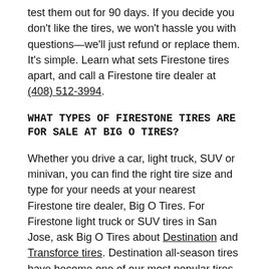test them out for 90 days. If you decide you don't like the tires, we won't hassle you with questions—we'll just refund or replace them. It's simple. Learn what sets Firestone tires apart, and call a Firestone tire dealer at (408) 512-3994.
WHAT TYPES OF FIRESTONE TIRES ARE FOR SALE AT BIG O TIRES?
Whether you drive a car, light truck, SUV or minivan, you can find the right tire size and type for your needs at your nearest Firestone tire dealer, Big O Tires. For Firestone light truck or SUV tires in San Jose, ask Big O Tires about Destination and Transforce tires. Destination all-season tires have become one of our most popular tires for a simple reason—drivers can rely on them from winter through summer, and throughout the tire's tread life. The newest Destination LE3 tire, in particular, is engineered with industry-leading all-season tire technology to offer SUV/CUV and light truck drivers a quieter, more comfortable ride in wet, dry and snowy conditions. Firestone Destination tires are also